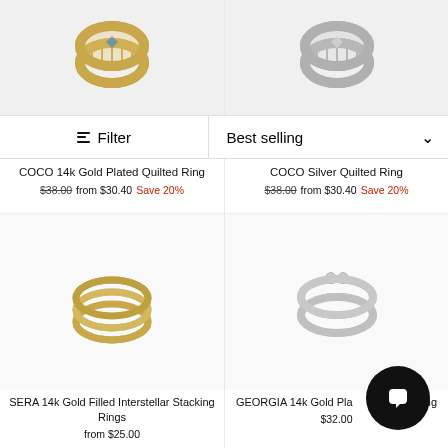[Figure (screenshot): E-commerce product listing page showing jewelry rings with filter/sort toolbar and four product cards]
Filter
Best selling
COCO 14k Gold Plated Quilted Ring
$38.00 from $30.40 Save 20%
COCO Silver Quilted Ring
$38.00 from $30.40 Save 20%
SERA 14k Gold Filled Interstellar Stacking Rings
from $25.00
GEORGIA 14k Gold Plated Butterfly Ring
$32.00